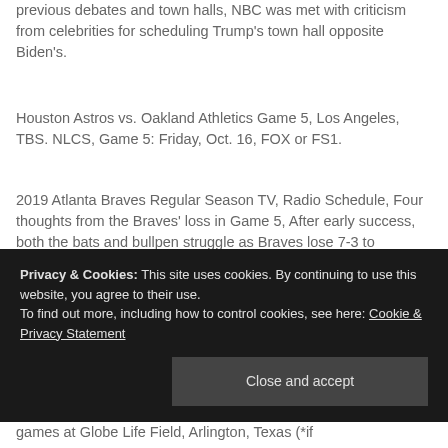previous debates and town halls, NBC was met with criticism from celebrities for scheduling Trump's town hall opposite Biden's.
Houston Astros vs. Oakland Athletics Game 5, Los Angeles, TBS. NLCS, Game 5: Friday, Oct. 16, FOX or FS1.
2019 Atlanta Braves Regular Season TV, Radio Schedule, Four thoughts from the Braves' loss in Game 5, After early success, both the bats and bullpen struggle as Braves lose 7-3 to Dodgers in Game 5. Stephen Piscotty went through a brutal inning in a 2017 game as a Cardinal. MLB Spring Training - Cactus v Grapefruit League?
Privacy & Cookies: This site uses cookies. By continuing to use this website, you agree to their use. To find out more, including how to control cookies, see here: Cookie & Privacy Statement
games at Globe Life Field, Arlington, Texas (*if